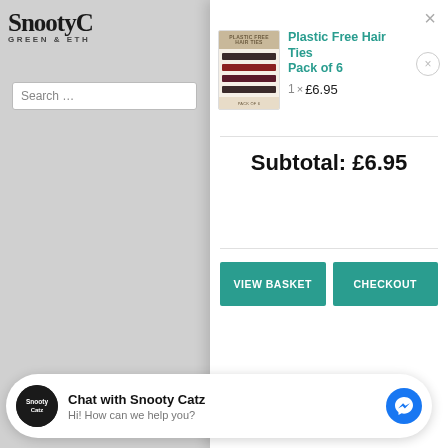[Figure (screenshot): SnootypCatz Green & Ethical website header with logo and search bar, partially visible behind modal]
[Figure (screenshot): Shopping cart modal overlay showing Plastic Free Hair Ties Pack of 6 product with image, price 1 x £6.95, subtotal £6.95, VIEW BASKET and CHECKOUT buttons]
Plastic Free Hair Ties Pack of 6
1 × £6.95
Subtotal: £6.95
VIEW BASKET
CHECKOUT
Chat with Snooty Catz
Hi! How can we help you?